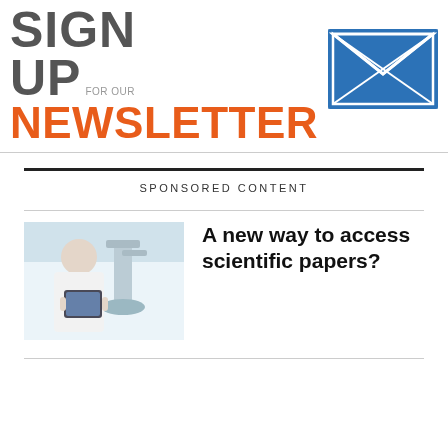[Figure (logo): Sign up for our Newsletter banner with envelope graphic. Large bold grey text SIGN UP, smaller grey FOR OUR text, large bold orange NEWSLETTER text, and a blue envelope/email graphic with tech imagery.]
SPONSORED CONTENT
[Figure (photo): A scientist or lab technician in a white coat using a tablet or device near laboratory microscope equipment.]
A new way to access scientific papers?